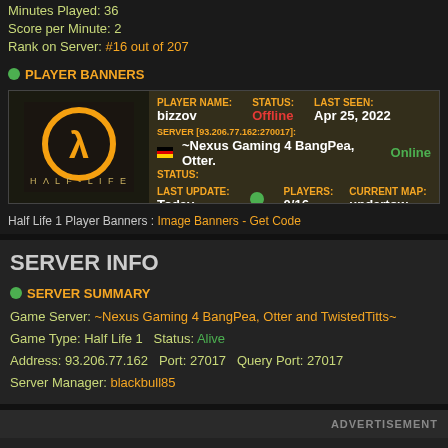Minutes Played: 36
Score per Minute: 2
Rank on Server: #16 out of 207
PLAYER BANNERS
[Figure (screenshot): Half-Life 1 player banner showing player bizzov, status Offline, last seen Apr 25 2022, server ~Nexus Gaming 4 BangPea, Otter, status Online, players 0/16, current map undertow]
Half Life 1 Player Banners : Image Banners - Get Code
SERVER INFO
SERVER SUMMARY
Game Server: ~Nexus Gaming 4 BangPea, Otter and TwistedTitts~
Game Type: Half Life 1  Status: Alive
Address: 93.206.77.162  Port: 27017  Query Port: 27017
Server Manager: blackbull85
ADVERTISEMENT